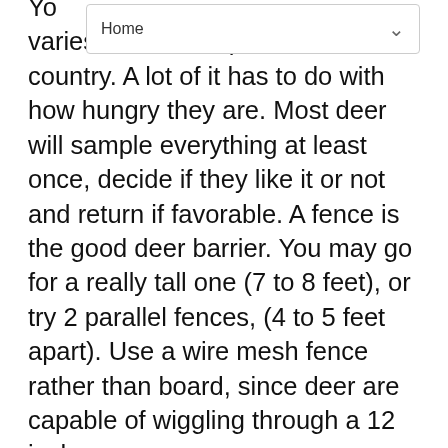Home
varies in different parts of the country. A lot of it has to do with how hungry they are. Most deer will sample everything at least once, decide if they like it or not and return if favorable. A fence is the good deer barrier. You may go for a really tall one (7 to 8 feet), or try 2 parallel fences, (4 to 5 feet apart). Use a wire mesh fence rather than board, since deer are capable of wiggling through a 12 inch space.
Conditions : Pollution Tolerant
Air pollution is becoming a bigger problem each day. Pollutants in our air dama... The plants are damaged by absorbing sulfur dioxide...